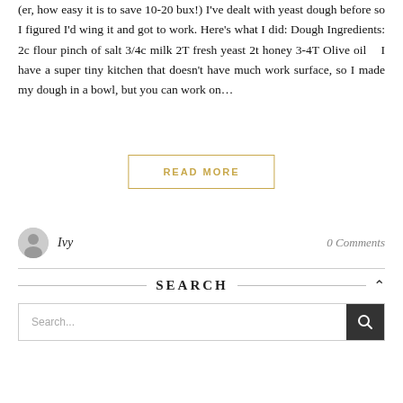(er, how easy it is to save 10-20 bux!) I've dealt with yeast dough before so I figured I'd wing it and got to work. Here's what I did: Dough Ingredients: 2c flour pinch of salt 3/4c milk 2T fresh yeast 2t honey 3-4T Olive oil   I have a super tiny kitchen that doesn't have much work surface, so I made my dough in a bowl, but you can work on...
READ MORE
Ivy
0 Comments
SEARCH
Search...